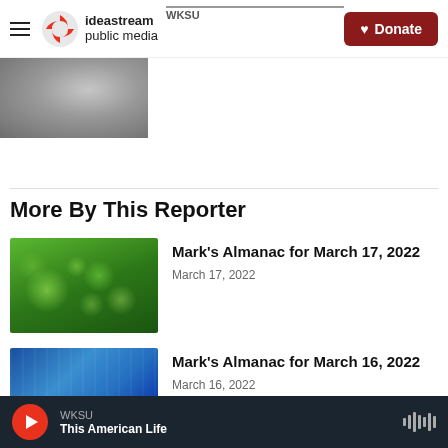ideastream public media WKSU | Donate
[Figure (photo): Partial photo visible at top left, person in profile]
More By This Reporter
[Figure (photo): Green blurred bokeh background (clovers/nature)]
Mark's Almanac for March 17, 2022
March 17, 2022
[Figure (photo): Medical/surgical team in blue scrubs operating]
Mark's Almanac for March 16, 2022
March 16, 2022
WKSU This American Life